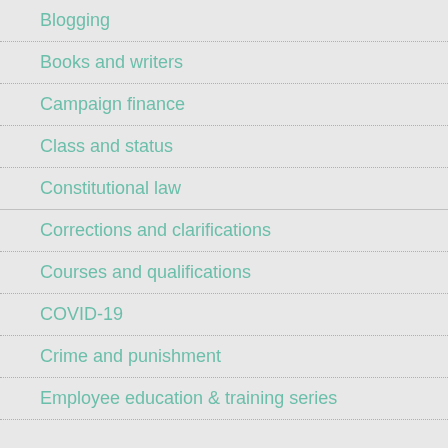Blogging
Books and writers
Campaign finance
Class and status
Constitutional law
Corrections and clarifications
Courses and qualifications
COVID-19
Crime and punishment
Employee education & training series